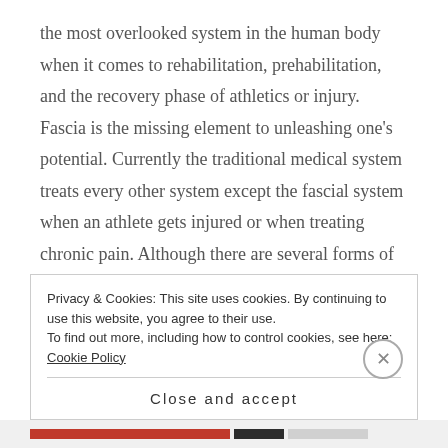the most overlooked system in the human body when it comes to rehabilitation, prehabilitation, and the recovery phase of athletics or injury. Fascia is the missing element to unleashing one’s potential. Currently the traditional medical system treats every other system except the fascial system when an athlete gets injured or when treating chronic pain. Although there are several forms of work that specifically address fascia, most people are unaware of the different types of fascial work that can be done to facilitate healing, optimize performance and provide
Privacy & Cookies: This site uses cookies. By continuing to use this website, you agree to their use.
To find out more, including how to control cookies, see here: Cookie Policy
Close and accept